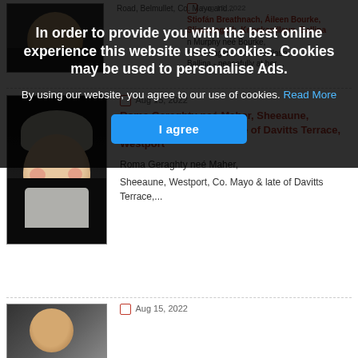Road, Belmullet, Co. Mayo and...
Stiofán Breathnach, Áileen Bourke, Slievenagark, Knockanillaun, Ballina - peacefully at her...
In order to provide you with the best online experience this website uses cookies. Cookies may be used to personalise Ads.
By using our website, you agree to our use of cookies. Read More
I agree
Aug 15, 2022
Roma Geraghty neé Maher, Sheeaune, Westport, Co. Mayo & late of Davitts Terrace, Westport
Roma Geraghty neé Maher,
Sheeaune, Westport, Co. Mayo & late of Davitts Terrace,...
Aug 15, 2022